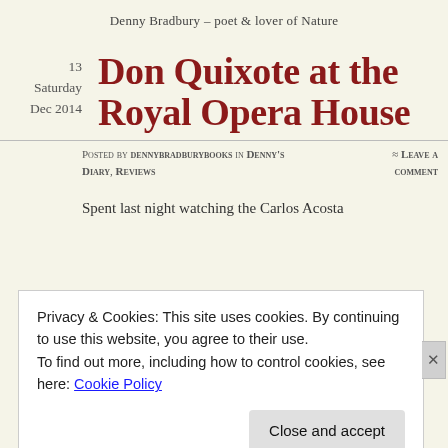Denny Bradbury – poet & lover of Nature
13
Saturday
Dec 2014
Don Quixote at the Royal Opera House
Posted by dennybradburybooks in Denny's Diary, Reviews
≈ Leave a comment
Spent last night watching the Carlos Acosta
Privacy & Cookies: This site uses cookies. By continuing to use this website, you agree to their use.
To find out more, including how to control cookies, see here: Cookie Policy
Close and accept